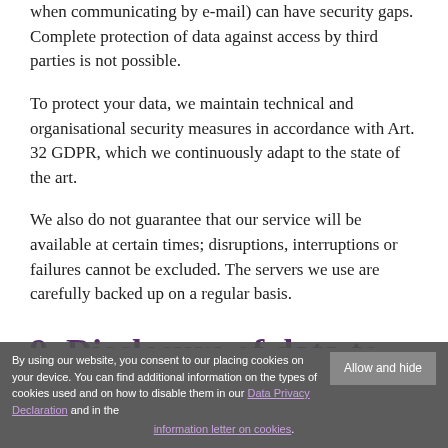when communicating by e-mail) can have security gaps. Complete protection of data against access by third parties is not possible.
To protect your data, we maintain technical and organisational security measures in accordance with Art. 32 GDPR, which we continuously adapt to the state of the art.
We also do not guarantee that our service will be available at certain times; disruptions, interruptions or failures cannot be excluded. The servers we use are carefully backed up on a regular basis.
9. Disclosure of data to
By using our website, you consent to our placing cookies on your device. You can find additional information on the types of cookies used and on how to disable them in our Data Privacy Declaration and in the information letter on cookies.